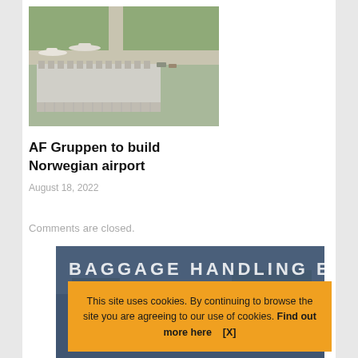[Figure (photo): Aerial rendering of a Norwegian airport terminal building with aircraft and taxiways]
AF Gruppen to build Norwegian airport
August 18, 2022
Comments are closed.
[Figure (photo): Baggage handling experts promotional image with dark blue overlay and text]
This site uses cookies. By continuing to browse the site you are agreeing to our use of cookies. Find out more here   [X]